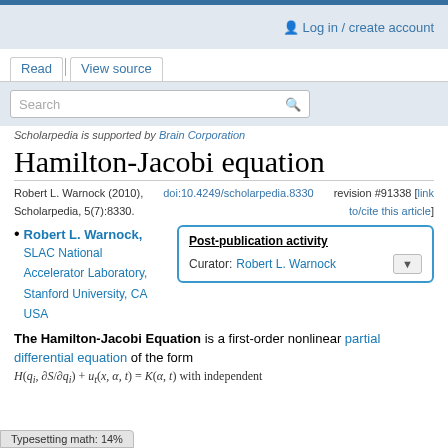Log in / create account
Read | View source
Scholarpedia is supported by Brain Corporation
Hamilton-Jacobi equation
Robert L. Warnock (2010), Scholarpedia, 5(7):8330. doi:10.4249/scholarpedia.8330 revision #91338 [link to/cite this article]
Robert L. Warnock, SLAC National Accelerator Laboratory, Stanford University, CA USA
Post-publication activity
Curator: Robert L. Warnock
The Hamilton-Jacobi Equation is a first-order nonlinear partial differential equation of the form